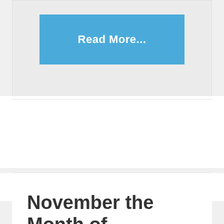[Figure (other): Blue 'Read More...' button on a light gray card background]
Filed Under: Rats, Squirrels
Tagged With: garden, Rats, squirrels
November the Month of the Rat